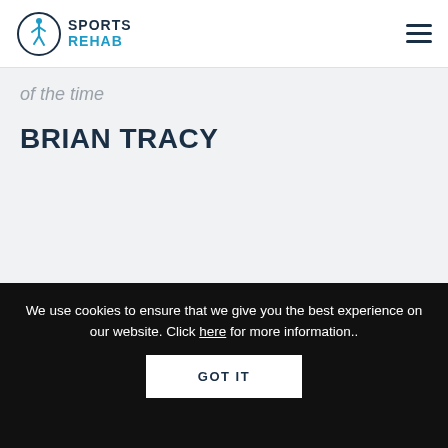Sports Rehab
of the time
BRIAN TRACY
We use cookies to ensure that we give you the best experience on our website. Click here for more information..
GOT IT